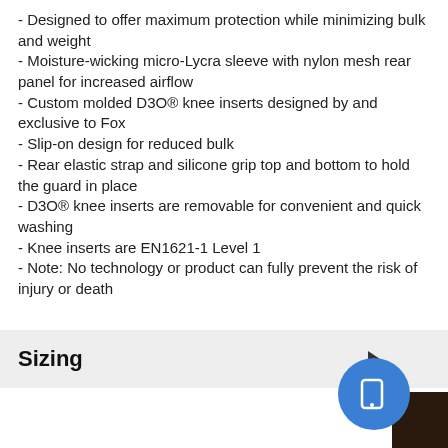- Designed to offer maximum protection while minimizing bulk and weight
- Moisture-wicking micro-Lycra sleeve with nylon mesh rear panel for increased airflow
- Custom molded D3O® knee inserts designed by and exclusive to Fox
- Slip-on design for reduced bulk
- Rear elastic strap and silicone grip top and bottom to hold the guard in place
- D3O® knee inserts are removable for convenient and quick washing
- Knee inserts are EN1621-1 Level 1
- Note: No technology or product can fully prevent the risk of injury or death
Sizing